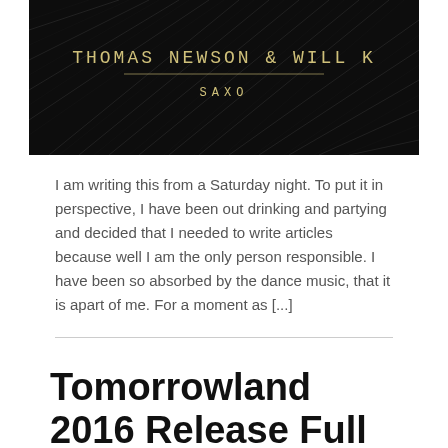[Figure (photo): Dark feather background banner with text 'THOMAS NEWSON & WILL K' and 'SAXO' in gold/cream lettering]
I am writing this from a Saturday night. To put it in perspective, I have been out drinking and partying and decided that I needed to write articles because well I am the only person responsible. I have been so absorbed by the dance music, that it is apart of me. For a moment as [...]
Tomorrowland 2016 Release Full Lineup by Day and Stage